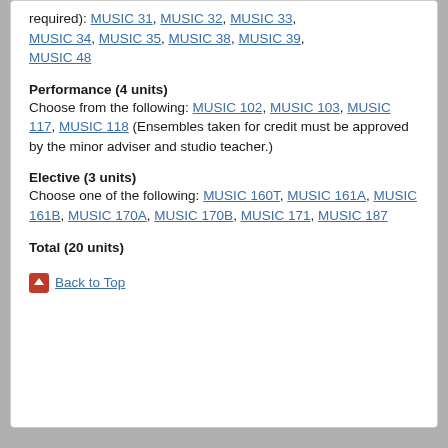required): MUSIC 31, MUSIC 32, MUSIC 33, MUSIC 34, MUSIC 35, MUSIC 38, MUSIC 39, MUSIC 48
Performance (4 units)
Choose from the following: MUSIC 102, MUSIC 103, MUSIC 117, MUSIC 118 (Ensembles taken for credit must be approved by the minor adviser and studio teacher.)
Elective (3 units)
Choose one of the following: MUSIC 160T, MUSIC 161A, MUSIC 161B, MUSIC 170A, MUSIC 170B, MUSIC 171, MUSIC 187
Total (20 units)
Back to Top